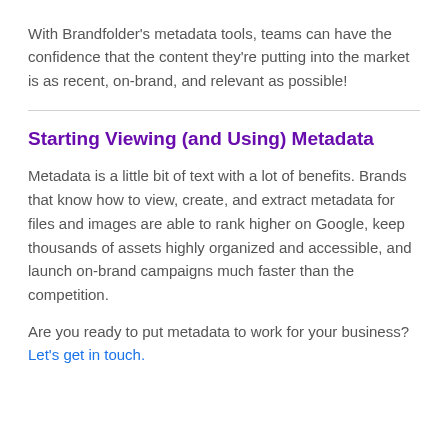With Brandfolder's metadata tools, teams can have the confidence that the content they're putting into the market is as recent, on-brand, and relevant as possible!
Starting Viewing (and Using) Metadata
Metadata is a little bit of text with a lot of benefits. Brands that know how to view, create, and extract metadata for files and images are able to rank higher on Google, keep thousands of assets highly organized and accessible, and launch on-brand campaigns much faster than the competition.
Are you ready to put metadata to work for your business? Let's get in touch.